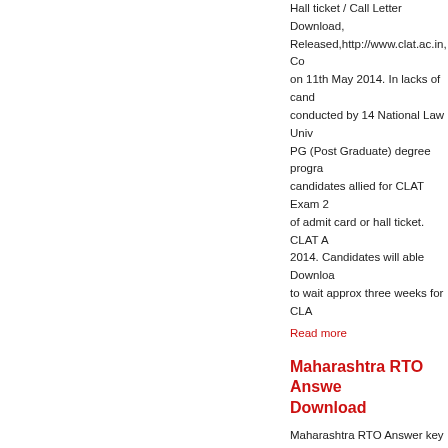Hall ticket / Call Letter Download, Released,http://www.clat.ac.in, Conducted on 11th May 2014. In lacks of candidates conducted by 14 National Law Universities PG (Post Graduate) degree programmes. All candidates allied for CLAT Exam 2014 in need of admit card or hall ticket. CLAT Admit Card 2014. Candidates will able Download and have to wait approx three weeks for CLA…
Read more
Maharashtra RTO Answer key Download
Maharashtra RTO Answer key 2014 Download, Maharashtra RTO 2014 Answer Key, Maharashtra RTO 2014 Expected Cutoff, www.oasis.mkcl.org, Maharashtra RTO typist Recruitment 2013 exam in Maharashtra State. Appeared candidates waiting for result declaration. Maharashtra RTO portal soon. Answer key will release… Bookmark our website to get the latest… Exam was conducted on 09 March…
Read more
Haryana Police Constable Admit Ticket Download
Haryana Police Admit Card 2014 D… Haryana Police 2014 Constable H…